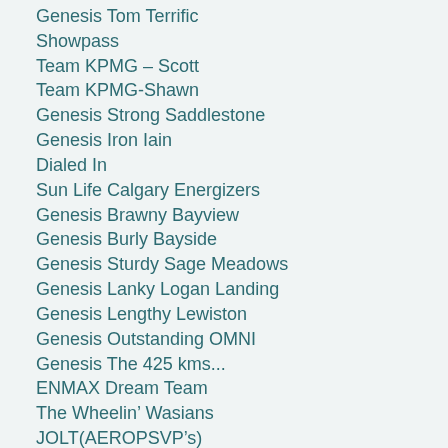Genesis Tom Terrific
Showpass
Team KPMG – Scott
Team KPMG-Shawn
Genesis Strong Saddlestone
Genesis Iron Iain
Dialed In
Sun Life Calgary Energizers
Genesis Brawny Bayview
Genesis Burly Bayside
Genesis Sturdy Sage Meadows
Genesis Lanky Logan Landing
Genesis Lengthy Lewiston
Genesis Outstanding OMNI
Genesis The 425 kms...
ENMAX Dream Team
The Wheelin’ Wasians
JOLT(AEROPSVP’s)
Spinning Wheels of IMT